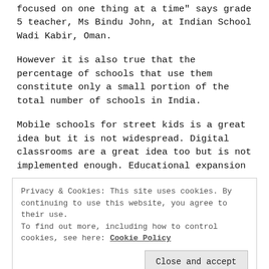focused on one thing at a time" says grade 5 teacher, Ms Bindu John, at Indian School Wadi Kabir, Oman.
However it is also true that the percentage of schools that use them constitute only a small portion of the total number of schools in India.
Mobile schools for street kids is a great idea but it is not widespread. Digital classrooms are a great idea too but is not implemented enough. Educational expansion
Privacy & Cookies: This site uses cookies. By continuing to use this website, you agree to their use.
To find out more, including how to control cookies, see here: Cookie Policy
have summer schools, workshops and